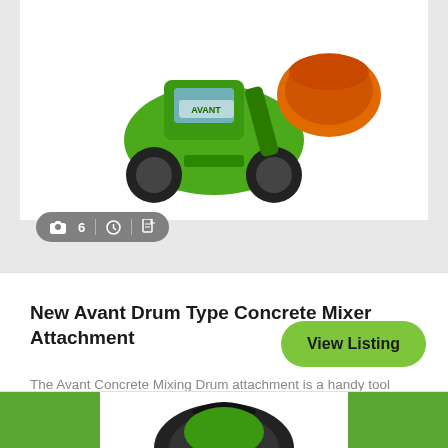[Figure (photo): Green Avant loader machine with orange drum concrete mixer attachment photographed against white background]
New Avant Drum Type Concrete Mixer Attachment
The Avant Concrete Mixing Drum attachment is a handy tool when you need to make ....
NSW,QLD,VIC - Delivers Nationally
[Figure (photo): Partial view of another green machine attachment at bottom of page]